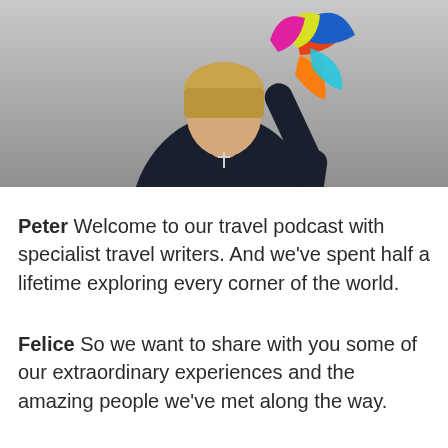[Figure (photo): A woman wearing a black long-sleeve top and a cross necklace, holding colorful scarves raised in one hand, photographed against a grey gradient background.]
Peter Welcome to our travel podcast with specialist travel writers. And we've spent half a lifetime exploring every corner of the world.
Felice So we want to share with you some of our extraordinary experiences and the amazing people we've met along the way.